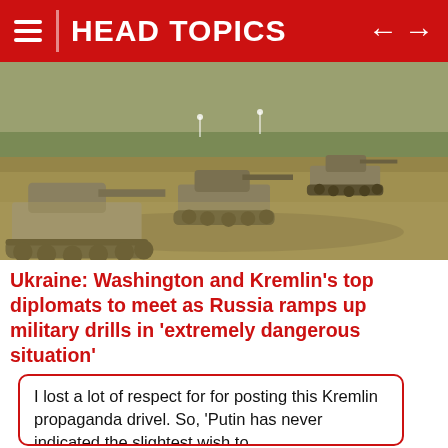HEAD TOPICS
[Figure (photo): Military tanks driving across an open field during a training exercise or military drill. Three armored vehicles visible in formation on dry grassy terrain.]
Ukraine: Washington and Kremlin's top diplomats to meet as Russia ramps up military drills in 'extremely dangerous situation'
I lost a lot of respect for for posting this Kremlin propaganda drivel. So, 'Putin has never indicated the slightest wish to